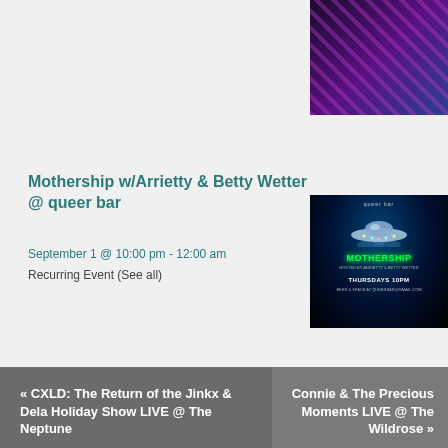[Figure (photo): Partial event poster image at top right, colorful performers on dark background]
Mothership w/Arrietty & Betty Wetter @ queer bar
September 1 @ 10:00 pm - 12:00 am
Recurring Event (See all)
[Figure (photo): Mothership event poster: UFO/flying saucer graphic with green glowing MOTHERSHIP text, THURSDAYS 10PM, queer bar label at top, dark space background]
« CXLD: The Return of the Jinkx & Dela Holiday Show LIVE @ The Neptune
Connie & The Precious Moments LIVE @ The Wildrose »
Scott Shoemaker's War on Christmas
ON OCTOBER 11 | BY MICHAEL STRANGEWAYS